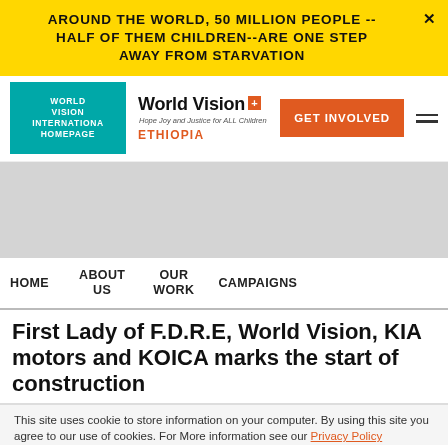AROUND THE WORLD, 50 MILLION PEOPLE -- HALF OF THEM CHILDREN--ARE ONE STEP AWAY FROM STARVATION
[Figure (logo): World Vision Ethiopia logo with cross symbol and tagline 'Hope Joy and Justice for ALL Children']
WORLD VISION INTERNATIONAL HOMEPAGE
GET INVOLVED
[Figure (photo): Gray hero image area]
HOME  ABOUT US  OUR WORK  CAMPAIGNS
First Lady of F.D.R.E, World Vision, KIA motors and KOICA marks the start of construction
This site uses cookie to store information on your computer. By using this site you agree to our use of cookies. For More information see our Privacy Policy